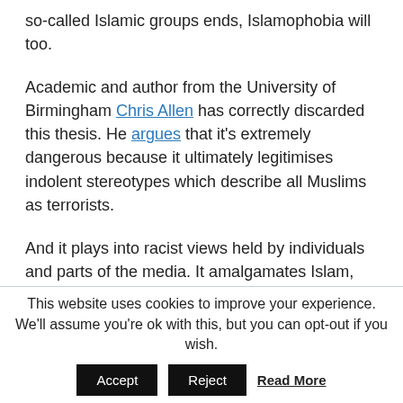so-called Islamic groups ends, Islamophobia will too.
Academic and author from the University of Birmingham Chris Allen has correctly discarded this thesis. He argues that it's extremely dangerous because it ultimately legitimises indolent stereotypes which describe all Muslims as terrorists.
And it plays into racist views held by individuals and parts of the media. It amalgamates Islam, terrorism, and all Muslims, which means that the faith is viewed as a threat.
This website uses cookies to improve your experience. We'll assume you're ok with this, but you can opt-out if you wish.
Accept  Reject  Read More